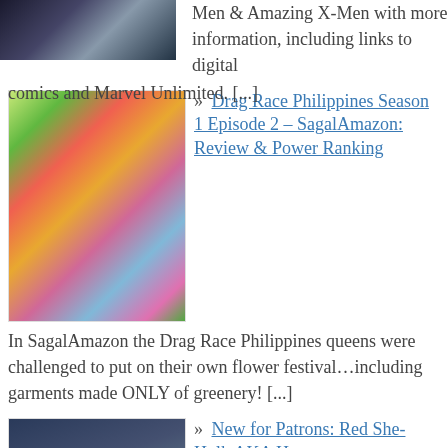Men & Amazing X-Men with more information, including links to digital comics and Marvel Unlimited. [...]
[Figure (photo): Partial thumbnail image of a comic book character at top left]
[Figure (photo): Photo of a drag queen performer in a colorful floral/greenery costume on stage]
» Drag Race Philippines Season 1 Episode 2 – SagalAmazon: Review & Power Ranking
In SagalAmazon the Drag Race Philippines queens were challenged to put on their own flower festival…including garments made ONLY of greenery! [...]
[Figure (photo): Illustration of Red She-Hulk (Betty Ross) as Harpy, a dark-haired woman in dramatic pose]
» New for Patrons: Red She-Hulk AKA Harpy
Who is Red She-Hulk, and how did Marvel use her as a test-run for their later success with Jane Foster as the Thor? Learn more in this introduction to my Guide to Red She-Hulk! [...]